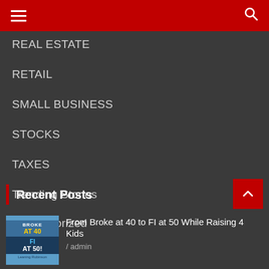Navigation menu header bar
REAL ESTATE
RETAIL
SMALL BUSINESS
STOCKS
TAXES
Trending Stories
Uncategorized
Venture Capitalists/Angel Investors
Wall street
Recent Posts
From Broke at 40 to FI at 50 While Raising 4 Kids / admin